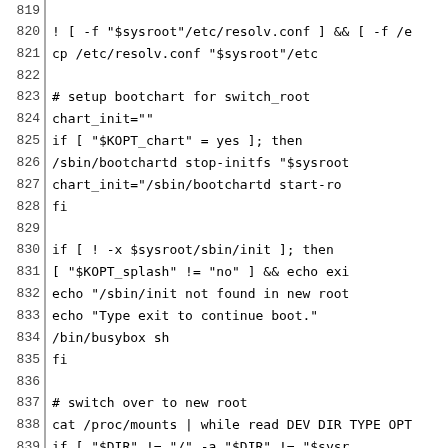Code listing lines 819-848, shell script for switch_root setup
819: (empty)
820: ! [ -f "$sysroot"/etc/resolv.conf ] && [ -f /e
821:     cp /etc/resolv.conf "$sysroot"/etc
822: (empty)
823: # setup bootchart for switch_root
824: chart_init=""
825: if [ "$KOPT_chart" = yes ]; then
826:         /sbin/bootchartd stop-initfs "$sysroot
827:         chart_init="/sbin/bootchartd start-ro
828: fi
829: (empty)
830: if [ ! -x $sysroot/sbin/init ]; then
831:         [ "$KOPT_splash" != "no" ] && echo exi
832:         echo "/sbin/init not found in new root
833:         echo "Type exit to continue boot."
834:         /bin/busybox sh
835: fi
836: (empty)
837: # switch over to new root
838: cat /proc/mounts | while read DEV DIR TYPE OPT
839:         if [ "$DIR" != "/" -a "$DIR" != "$sysr
840:                 mkdir -p $sysroot/$DIR
841:                 mount -o move $DIR $sysroot/$D
842:         fi
843: done
844: sync
845: (empty)
846: [ "$KOPT_splash" = "init" ] && echo exit > $sy
847: echo ""
848: exec /bin/busybox switch_root $sysroot $chart